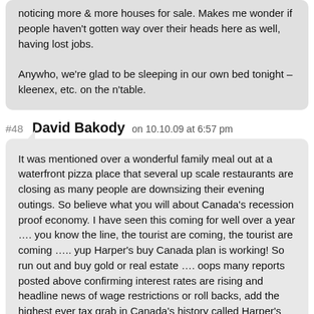noticing more & more houses for sale. Makes me wonder if people haven't gotten way over their heads here as well, having lost jobs.

Anywho, we're glad to be sleeping in our own bed tonight – kleenex, etc. on the n'table.
#48 David Bakody on 10.10.09 at 6:57 pm
It was mentioned over a wonderful family meal out at a waterfront pizza place that several up scale restaurants are closing as many people are downsizing their evening outings. So believe what you will about Canada's recession proof economy. I have seen this coming for well over a year …. you know the line, the tourist are coming, the tourist are coming ….. yup Harper's buy Canada plan is working! So run out and buy gold or real estate …. oops many reports posted above confirming interest rates are rising and headline news of wage restrictions or roll backs, add the highest ever tax grab in Canada's history called Harper's Sales Tax effecting 16 million Canadians that will have consequences on all Canadians and tourist alike … oops again did I mention taxing tourist even more while their money is worth less here in Canada in hospitality industry ….. Hello Mr. Harper and Mr. Flaherty are we missing something in your plan to help build US Canada trade relationships.